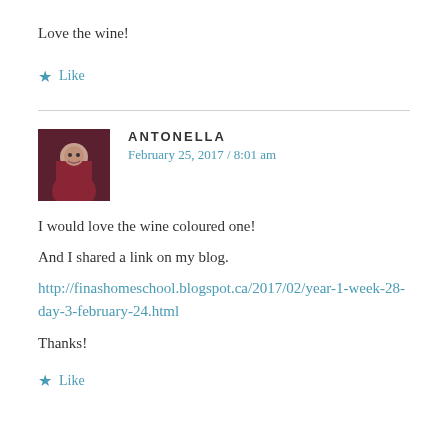Love the wine!
★ Like
ANTONELLA
February 25, 2017 / 8:01 am
I would love the wine coloured one!
And I shared a link on my blog.
http://finashomeschool.blogspot.ca/2017/02/year-1-week-28-day-3-february-24.html
Thanks!
★ Like